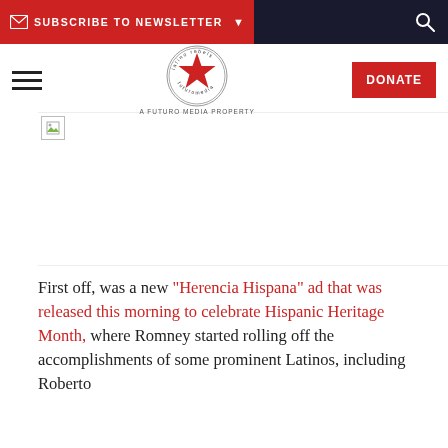SUBSCRIBE TO NEWSLETTER
[Figure (logo): Latino Rebels logo - a red star in a circle with text, A Futuro Media Property]
[Figure (photo): Broken/loading image placeholder]
First off, was a new "Herencia Hispana" ad that was released this morning to celebrate Hispanic Heritage Month, where Romney started rolling off the accomplishments of some prominent Latinos, including Roberto